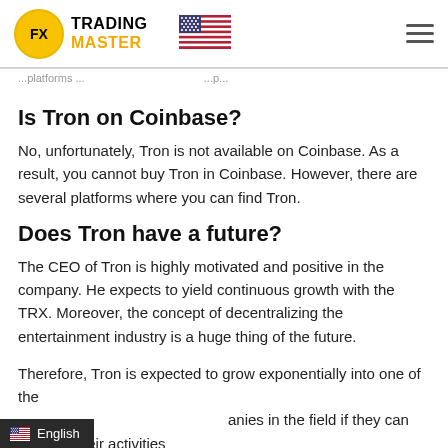[Figure (logo): FX Trading Master logo with yellow circle containing FX text, TRADING MASTER wordmark, US flag icon, and hamburger menu icon]
...platforms... ...p...
Is Tron on Coinbase?
No, unfortunately, Tron is not available on Coinbase. As a result, you cannot buy Tron in Coinbase. However, there are several platforms where you can find Tron.
Does Tron have a future?
The CEO of Tron is highly motivated and positive in the company. He expects to yield continuous growth with the TRX. Moreover, the concept of decentralizing the entertainment industry is a huge thing of the future.
Therefore, Tron is expected to grow exponentially into one of the ...anies in the field if they can function their activities